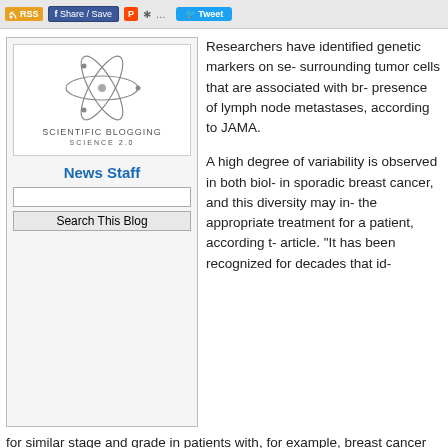RSS | Share / Save | Tweet
[Figure (logo): Scientific Blogging Science 2.0 logo with atom icon]
News Staff
Researchers have identified genetic markers on se- surrounding tumor cells that are associated with br- presence of lymph node metastases, according to JAMA.
A high degree of variability is observed in both biol- in sporadic breast cancer, and this diversity may in- the appropriate treatment for a patient, according t- article. "It has been recognized for decades that id- for similar stage and grade in patients with, for example, breast cancer (or w- differently. The complexities of genetic alterations in breast cancer may prov- consequent (secondary) clinicopathological features, an idea supported by p- certain breast cancer genotype and phenotype [visible characteristics of an
Charis Eng, M.D., Ph.D., of the Cleveland Clinic Genomic Medicine Institute the hypothesis that cell genomic alterations in tumor stroma (the cells and ti- significantly alter tumor behavior, as reflected in clinicopathological features researchers conducted a cross-sectional analysis of DNA from the epitheliu- 220 primary sporadic invasive breast carcinomas for genomic alterations. D- 2003 through June 2006.